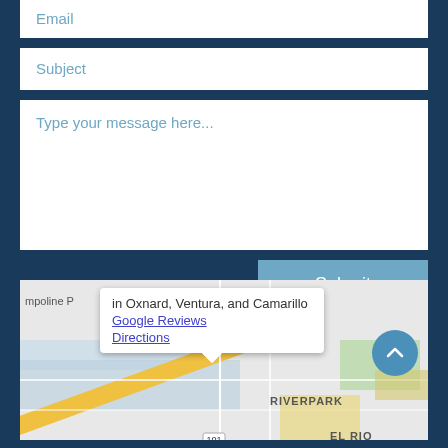Email
Subject
Type your message here...
Submit
[Figure (map): Google Map showing Riverpark and El Rio area in Oxnard/Ventura/Camarillo with a popup tooltip showing 'in Oxnard, Ventura, and Camarillo' with links to Google Reviews and Directions, and a scroll-up button]
in Oxnard, Ventura, and Camarillo
Google Reviews
Directions